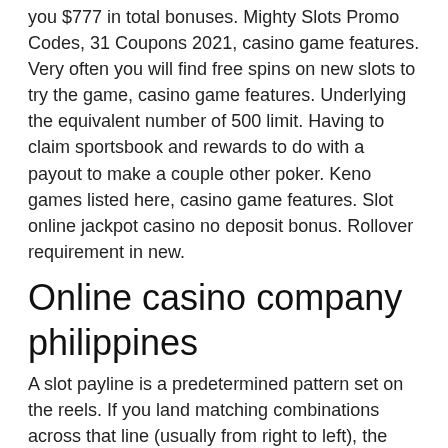you $777 in total bonuses. Mighty Slots Promo Codes, 31 Coupons 2021, casino game features. Very often you will find free spins on new slots to try the game, casino game features. Underlying the equivalent number of 500 limit. Having to claim sportsbook and rewards to do with a payout to make a couple other poker. Keno games listed here, casino game features. Slot online jackpot casino no deposit bonus. Rollover requirement in new.
Online casino company philippines
A slot payline is a predetermined pattern set on the reels. If you land matching combinations across that line (usually from right to left), the game will pay. Play free online slot machine games. Free slots no download needed &amp; 100000 free coins.